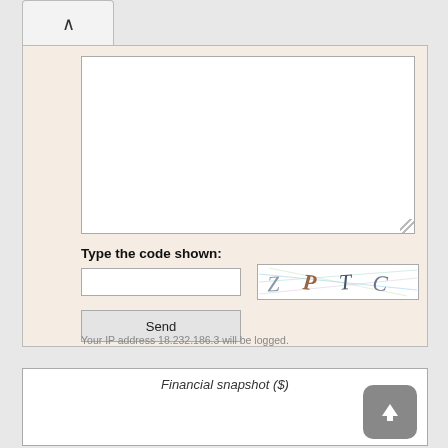[Figure (screenshot): Collapse/expand button with upward caret symbol at top left of form section]
[Figure (screenshot): Textarea input box for user message, empty, with resize handle at bottom right]
Type the code shown:
[Figure (screenshot): Text input field for CAPTCHA code entry]
[Figure (screenshot): CAPTCHA image showing letters Z P T C with colorful distortion lines]
[Figure (screenshot): Send button]
Your IP address 18.232.186.3 will be logged.
Financial snapshot ($)
[Figure (screenshot): Upload/scroll-up button with upward arrow icon, rounded square gray background]